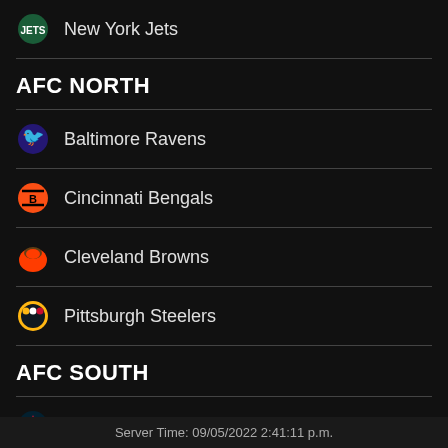New York Jets
AFC NORTH
Baltimore Ravens
Cincinnati Bengals
Cleveland Browns
Pittsburgh Steelers
AFC SOUTH
Houston Texans
Server Time: 09/05/2022 2:41:11 p.m.